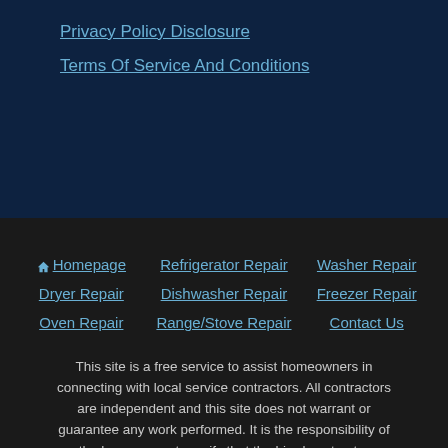Privacy Policy Disclosure
Terms Of Service And Conditions
🏠 Homepage
Refrigerator Repair
Washer Repair
Dryer Repair
Dishwasher Repair
Freezer Repair
Oven Repair
Range/Stove Repair
Contact Us
This site is a free service to assist homeowners in connecting with local service contractors. All contractors are independent and this site does not warrant or guarantee any work performed. It is the responsibility of the homeowner to verify that the hired contractor furnishes the necessary license and insurance required for the work being performed. All persons depicted in a photo